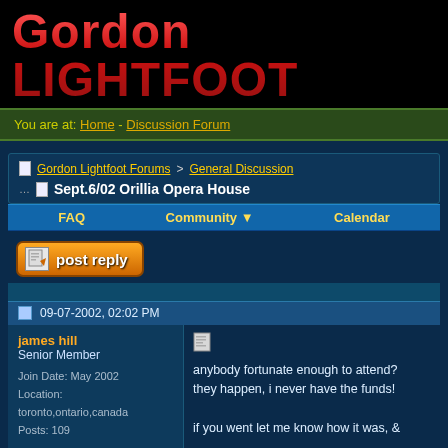Gordon LIGHTFOOT
You are at: Home - Discussion Forum
Gordon Lightfoot Forums > General Discussion
Sept.6/02 Orillia Opera House
FAQ  Community  Calendar
[Figure (screenshot): Post reply button with icon]
09-07-2002, 02:02 PM
james hill
Senior Member
Join Date: May 2002
Location: toronto,ontario,canada
Posts: 109
anybody fortunate enough to attend? they happen, i never have the funds!

if you went let me know how it was, &

james